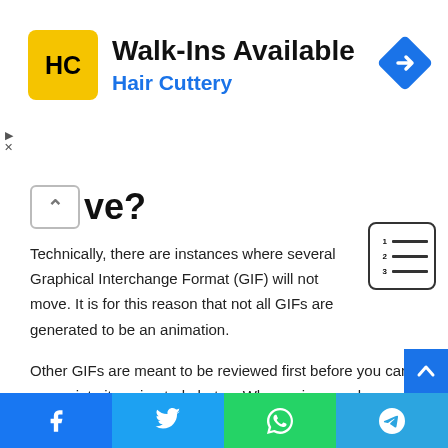[Figure (infographic): Advertisement banner for Hair Cuttery salon. Yellow square logo with HC letters, text Walk-Ins Available and Hair Cuttery in blue, blue diamond arrow icon on right.]
…ove?
Technically, there are instances where several Graphical Interchange Format (GIF) will not move. It is for this reason that not all GIFs are generated to be an animation.
Other GIFs are meant to be reviewed first before you can appreciate its animated photos. When using a web page with a lot of GIF display, it requires to be downloaded or else it will remain like a photo.
How to use GIF on Android